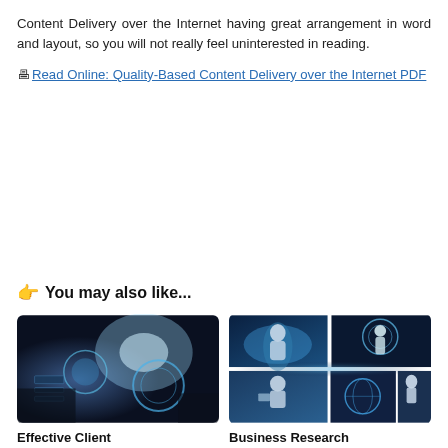Content Delivery over the Internet having great arrangement in word and layout, so you will not really feel uninterested in reading.
🖶 Read Online: Quality-Based Content Delivery over the Internet PDF
👉 You may also like...
[Figure (photo): Technology interface with holographic displays, world map and hand touching digital screen, dark blue tones]
Effective Client
[Figure (photo): Collage of four business/technology photos showing people with digital interfaces and cloud computing themes]
Business Research